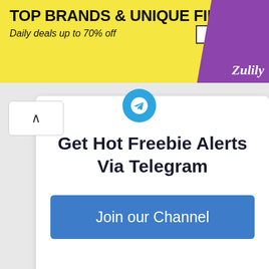[Figure (screenshot): Zulily advertisement banner with yellow background, showing 'TOP BRANDS & UNIQUE FINDS' headline and 'Daily deals up to 70% off' subheading, with SHOP NOW button and purple Zulily branding on right]
[Figure (screenshot): Telegram channel promotional popup card with blue Telegram icon, title 'Get Hot Freebie Alerts Via Telegram' and a blue 'Join our Channel' button]